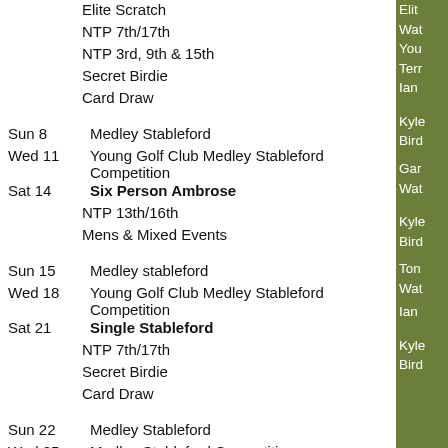Elite Scratch
NTP 7th/17th
NTP 3rd, 9th & 15th
Secret Birdie
Card Draw
Sun 8   Medley Stableford
Wed 11   Young Golf Club Medley Stableford Competition
Sat 14   Six Person Ambrose
NTP 13th/16th
Mens & Mixed Events
Sun 15   Medley stableford
Wed 18   Young Golf Club Medley Stableford Competition
Sat 21   Single Stableford
NTP 7th/17th
Secret Birdie
Card Draw
Sun 22   Medley Stableford
Wed 25   Medley Stableford Competition